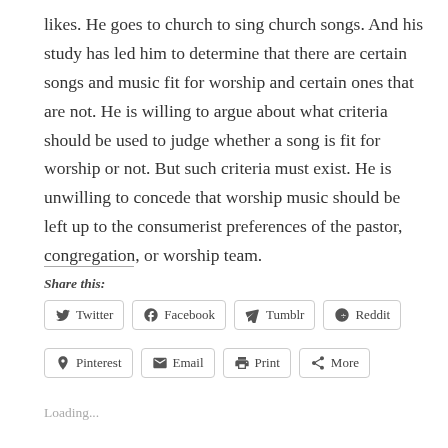likes. He goes to church to sing church songs. And his study has led him to determine that there are certain songs and music fit for worship and certain ones that are not. He is willing to argue about what criteria should be used to judge whether a song is fit for worship or not. But such criteria must exist. He is unwilling to concede that worship music should be left up to the consumerist preferences of the pastor, congregation, or worship team.
Share this:
Twitter Facebook Tumblr Reddit Pinterest Email Print More
Loading...